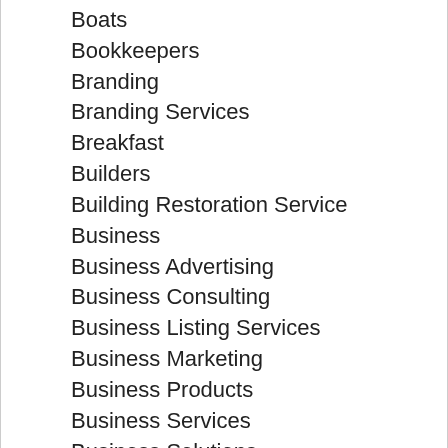Boats
Bookkeepers
Branding
Branding Services
Breakfast
Builders
Building Restoration Service
Business
Business Advertising
Business Consulting
Business Listing Services
Business Marketing
Business Products
Business Services
Business Solutions